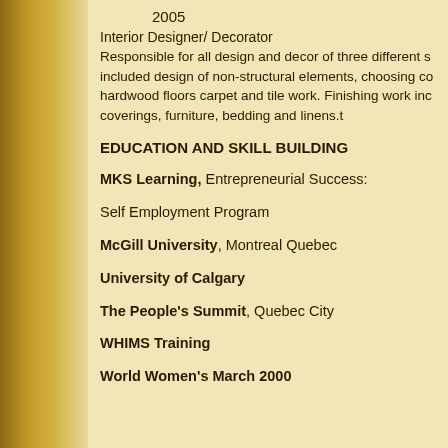2005
Interior Designer/ Decorator
Responsible for all design and decor of three different s included design of non-structural elements, choosing co hardwood floors carpet and tile work. Finishing work inc coverings, furniture, bedding and linens.t
EDUCATION AND SKILL BUILDING
MKS Learning, Entrepreneurial Success:
Self Employment Program
McGill University, Montreal Quebec
University of Calgary
The People's Summit, Quebec City
WHIMS Training
World Women's March 2000